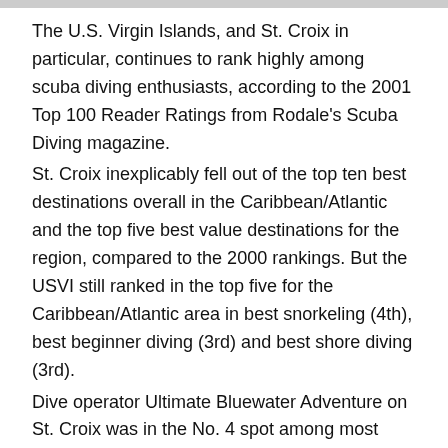The U.S. Virgin Islands, and St. Croix in particular, continues to rank highly among scuba diving enthusiasts, according to the 2001 Top 100 Reader Ratings from Rodale's Scuba Diving magazine.
St. Croix inexplicably fell out of the top ten best destinations overall in the Caribbean/Atlantic and the top five best value destinations for the region, compared to the 2000 rankings. But the USVI still ranked in the top five for the Caribbean/Atlantic area in best snorkeling (4th), best beginner diving (3rd) and best shore diving (3rd).
Dive operator Ultimate Bluewater Adventure on St. Croix was in the No. 4 spot among most popular dive operators in the world and No. 9 for best dive operator in the Caribbean/Atlantic.
The Cayman Islands, Turks and Caicos, and Bonaire took top spots in many of the Atlantic/Caribbean categories in this year's poll.